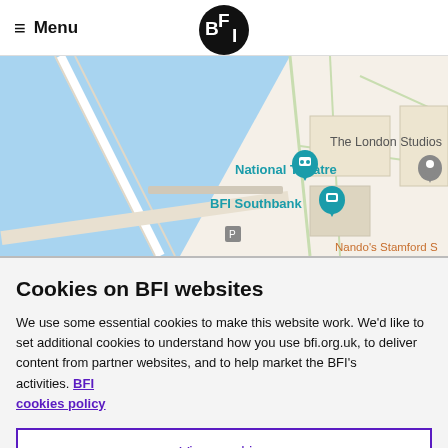≡ Menu | BFI logo
[Figure (map): Google Maps screenshot showing BFI Southbank and National Theatre area along the Thames, London. Labels include 'National Theatre', 'BFI Southbank', 'The London Studios', 'Nando's Stamford S...' with teal map pins.]
Cookies on BFI websites
We use some essential cookies to make this website work. We'd like to set additional cookies to understand how you use bfi.org.uk, to deliver content from partner websites, and to help market the BFI's activities. BFI cookies policy
View cookies
Reject cookies